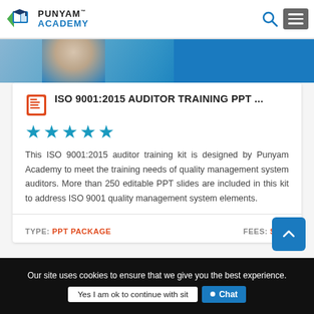PUNYAM ACADEMY
[Figure (photo): Top banner image showing a training or course scene in teal/blue tones]
ISO 9001:2015 AUDITOR TRAINING PPT ...
[Figure (other): 5 teal/blue stars rating]
This ISO 9001:2015 auditor training kit is designed by Punyam Academy to meet the training needs of quality management system auditors. More than 250 editable PPT slides are included in this kit to address ISO 9001 quality management system elements.
TYPE: PPT PACKAGE    FEES: $270
Our site uses cookies to ensure that we give you the best experience.
Yes I am ok to continue with sit
Chat